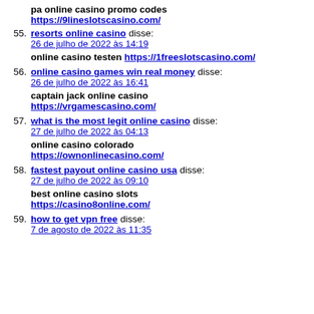pa online casino promo codes https://9lineslotscasino.com/
55. resorts online casino disse: 26 de julho de 2022 às 14:19 — online casino testen https://1freeslotscasino.com/
56. online casino games win real money disse: 26 de julho de 2022 às 16:41 — captain jack online casino https://vrgamescasino.com/
57. what is the most legit online casino disse: 27 de julho de 2022 às 04:13 — online casino colorado https://ownonlinecasino.com/
58. fastest payout online casino usa disse: 27 de julho de 2022 às 09:10 — best online casino slots https://casino8online.com/
59. how to get vpn free disse: 7 de agosto de 2022 às 11:35